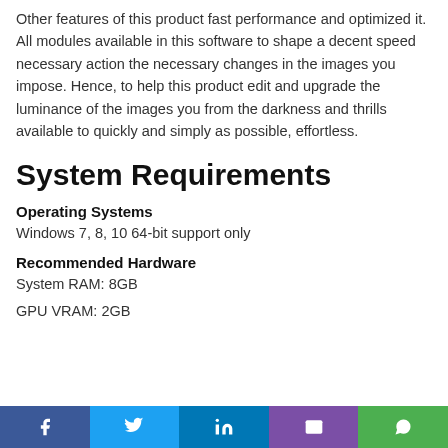Other features of this product fast performance and optimized it. All modules available in this software to shape a decent speed necessary action the necessary changes in the images you impose. Hence, to help this product edit and upgrade the luminance of the images you from the darkness and thrills available to quickly and simply as possible, effortless.
System Requirements
Operating Systems
Windows 7, 8, 10 64-bit support only
Recommended Hardware
System RAM: 8GB
GPU VRAM: 2GB
f  twitter  in  email  whatsapp